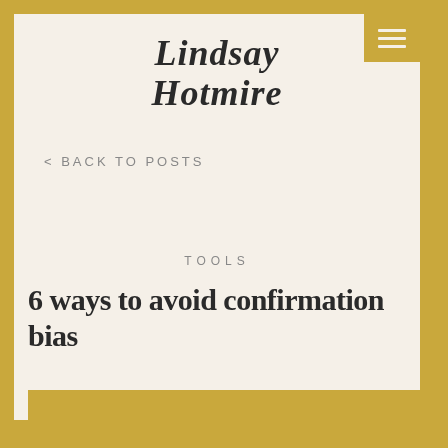Lindsay Hotmire
< BACK TO POSTS
TOOLS
6 ways to avoid confirmation bias